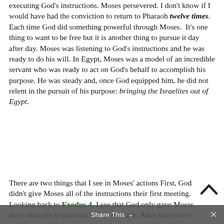executing God's instructions. Moses persevered. I don't know if I would have had the conviction to return to Pharaoh twelve times. Each time God did something powerful through Moses. It's one thing to want to be free but it is another thing to pursue it day after day. Moses was listening to God's instructions and he was ready to do his will. In Egypt, Moses was a model of an incredible servant who was ready to act on God's behalf to accomplish his purpose. He was steady and, once God equipped him, he did not relent in the pursuit of his purpose: bringing the Israelites out of Egypt.
There are two things that I see in Moses' actions First, God didn't give Moses all of the instructions their first meeting. Looking back to Exodus 4, I see that God only gave Moses three miracles to perform before Pharaoh. After those were performed, God sent plagues of frogs, gnats, flies, a plague on the livestock, boils, hail, locusts, darkness and, finally, a plague on the firstborn. This tells me that we must
Share This